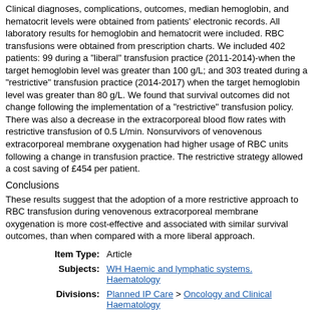Clinical diagnoses, complications, outcomes, median hemoglobin, and hematocrit levels were obtained from patients' electronic records. All laboratory results for hemoglobin and hematocrit were included. RBC transfusions were obtained from prescription charts. We included 402 patients: 99 during a "liberal" transfusion practice (2011-2014)-when the target hemoglobin level was greater than 100 g/L; and 303 treated during a "restrictive" transfusion practice (2014-2017) when the target hemoglobin level was greater than 80 g/L. We found that survival outcomes did not change following the implementation of a "restrictive" transfusion policy. There was also a decrease in the extracorporeal blood flow rates with restrictive transfusion of 0.5 L/min. Nonsurvivors of venovenous extracorporeal membrane oxygenation had higher usage of RBC units following a change in transfusion practice. The restrictive strategy allowed a cost saving of £454 per patient.
Conclusions
These results suggest that the adoption of a more restrictive approach to RBC transfusion during venovenous extracorporeal membrane oxygenation is more cost-effective and associated with similar survival outcomes, than when compared with a more liberal approach.
| Label | Value |
| --- | --- |
| Item Type: | Article |
| Subjects: | WH Haemic and lymphatic systems. Haematology |
| Divisions: | Planned IP Care > Oncology and Clinical Haematology |
| Related URLs: | https://pubmed.ncbi.nlm.nih.gov/32166297... |
| Depositing User: | Jamie Edgar |